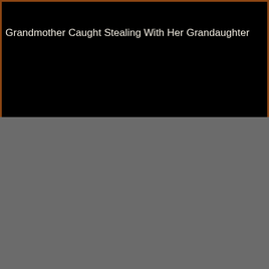[Figure (screenshot): Black background header area with orange/brown border on top and sides, containing a white text headline]
Grandmother Caught Stealing With Her Grandaughter
[Figure (photo): Gray/dark gray area occupying the bottom half of the page, likely a video thumbnail or image placeholder]